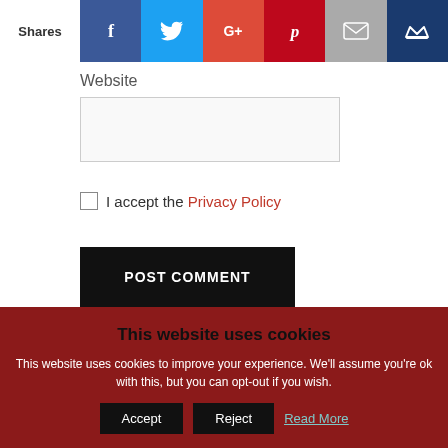Shares | Social share bar with Facebook, Twitter, Google+, Pinterest, Email, Crown icons
Website
I accept the Privacy Policy
POST COMMENT
This website uses cookies
This website uses cookies to improve your experience. We'll assume you're ok with this, but you can opt-out if you wish.
Accept | Reject | Read More